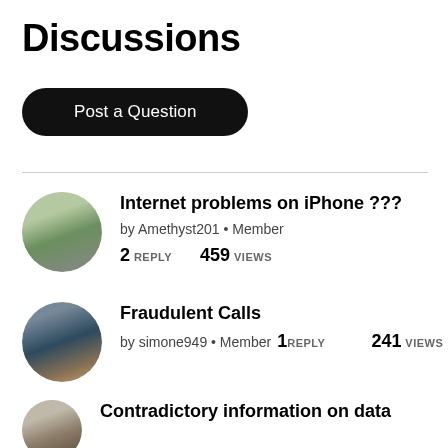Discussions
Post a Question
Internet problems on iPhone ??? by Amethyst201 • Member 2 REPLY 459 VIEWS
Fraudulent Calls by simone949 • Member 1 REPLY 241 VIEWS
Contradictory information on data